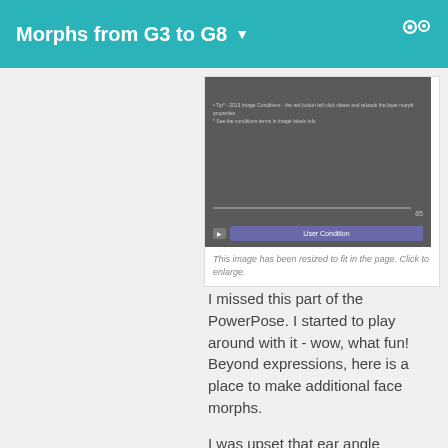Morphs from G3 to G8
[Figure (screenshot): A dark-themed software dialog box (likely DAZ Studio or similar) showing text and a progress bar with a button labeled 'User Condition']
This image has been resized to fit in the page. Click to enlarge.
I missed this part of the PowerPose.  I started to play around with it - wow, what fun!  Beyond expressions, here is a place to make additional face morphs.
I was upset that ear angle